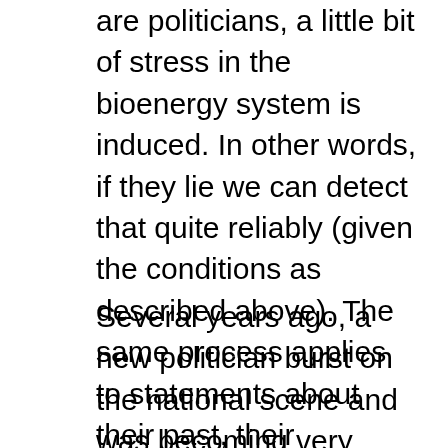are politicians, a little bit of stress in the bioenergy system is induced. In other words, if they lie we can detect that quite reliably (given the conditions as described above). The same process applies to statements about their past, their associates, their relationships, and virtually any other topic.
Several years ago, a new politician burst on the national scene and was becoming very popular, partly because of his statements and promises. I decided this person was very appropriate for me to test the things he was saying. He is an excellent orator and his speeches are full of emotional appeal. He also uses techniques of mass hypnosis (in the past I practised hypnosis and taught hypnosis to